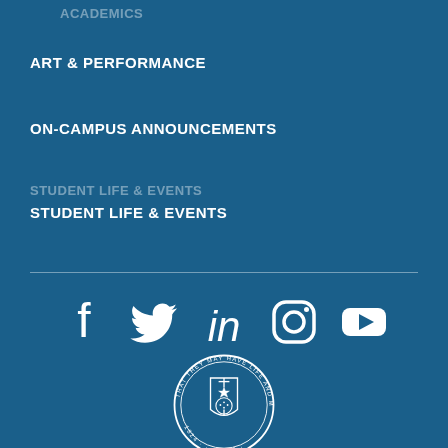ACADEMICS
ART & PERFORMANCE
ON-CAMPUS ANNOUNCEMENTS
STUDENT LIFE & EVENTS
[Figure (infographic): Social media icons: Facebook, Twitter, LinkedIn, Instagram, YouTube on blue background]
[Figure (logo): University circular seal with tree, shield, and motto 'THAT THEY MAY HAVE LIFE AND MAY HAVE IT ABUNDANTLY' with years 1824 and 1932]